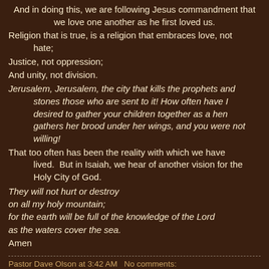And in doing this, we are following Jesus commandment that we love one another as he first loved us.
Religion that is true, is a religion that embraces love, not hate;
Justice, not oppression;
And unity, not division.
Jerusalem, Jerusalem, the city that kills the prophets and stones those who are sent to it! How often have I desired to gather your children together as a hen gathers her brood under her wings, and you were not willing!
That too often has been the reality with which we have lived.  But in Isaiah, we hear of another vision for the Holy City of God.
They will not hurt or destroy
on all my holy mountain;
for the earth will be full of the knowledge of the Lord
as the waters cover the sea.
Amen
Pastor Dave Olson at 3:42 AM   No comments: